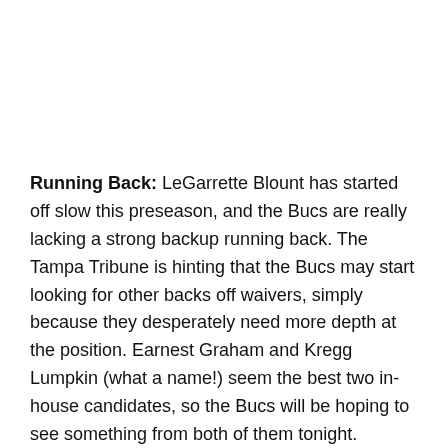Running Back: LeGarrette Blount has started off slow this preseason, and the Bucs are really lacking a strong backup running back. The Tampa Tribune is hinting that the Bucs may start looking for other backs off waivers, simply because they desperately need more depth at the position. Earnest Graham and Kregg Lumpkin (what a name!) seem the best two in-house candidates, so the Bucs will be hoping to see something from both of them tonight.
Tight End: Simply not the area of greatest...